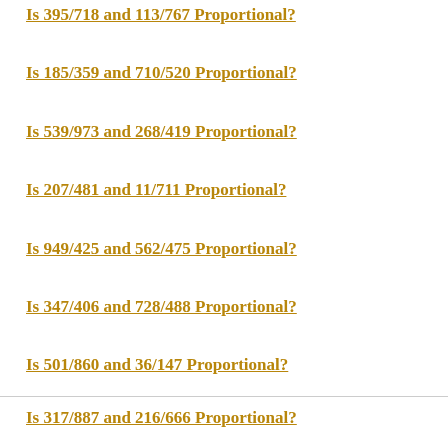Is 395/718 and 113/767 Proportional?
Is 185/359 and 710/520 Proportional?
Is 539/973 and 268/419 Proportional?
Is 207/481 and 11/711 Proportional?
Is 949/425 and 562/475 Proportional?
Is 347/406 and 728/488 Proportional?
Is 501/860 and 36/147 Proportional?
Is 317/887 and 216/666 Proportional?